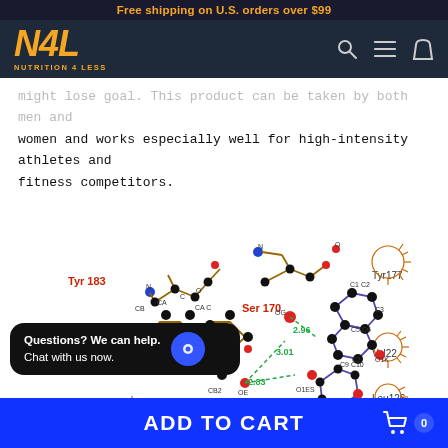Free shipping on U.S. orders over $99
[Figure (logo): N4L Nutrition 4 Less logo in orange italic bold font on dark navy background, with search, menu, and cart icons]
...might lose goal. This product can be taken by both men and women and works especially well for high-intensity athletes and fitness competitors.
[Figure (schematic): Molecular interaction diagram showing Tyr183, Ser170, Tyr177, Val22, Leu126 residues with bond distances 2.96, 3.01, 2.83 angstroms shown as green dashed lines]
Questions? We can help. Chat with us now.
ADD TO CART